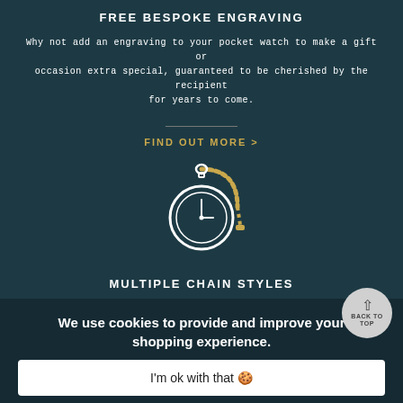FREE BESPOKE ENGRAVING
Why not add an engraving to your pocket watch to make a gift or occasion extra special, guaranteed to be cherished by the recipient for years to come.
FIND OUT MORE >
[Figure (illustration): Pocket watch with chain illustration in gold and white line art]
MULTIPLE CHAIN STYLES
We offer a range of chains with selected brands to compliment your pocket watch. You can easily add a chain when adding a watch to your basket.
We use cookies to provide and improve your shopping experience.
I'm ok with that 🍪